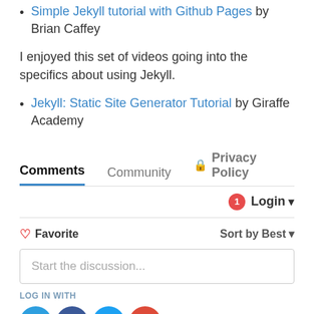Simple Jekyll tutorial with Github Pages by Brian Caffey
I enjoyed this set of videos going into the specifics about using Jekyll.
Jekyll: Static Site Generator Tutorial by Giraffe Academy
Comments  Community  Privacy Policy
Login
Favorite   Sort by Best
Start the discussion...
LOG IN WITH